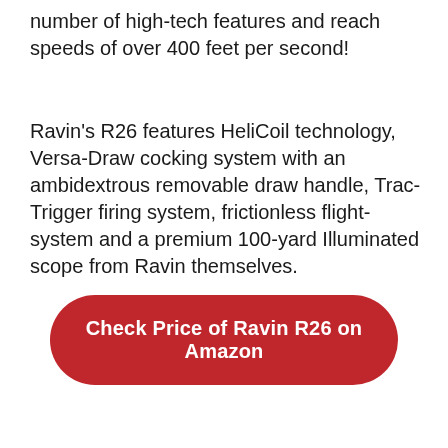number of high-tech features and reach speeds of over 400 feet per second!
Ravin's R26 features HeliCoil technology, Versa-Draw cocking system with an ambidextrous removable draw handle, Trac-Trigger firing system, frictionless flight-system and a premium 100-yard Illuminated scope from Ravin themselves.
Check Price of Ravin R26 on Amazon